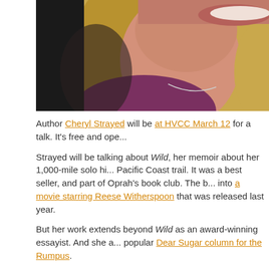[Figure (photo): Close-up portrait photo of a blonde woman smiling, wearing a purple top and necklace, against a dark background.]
Author Cheryl Strayed will be at HVCC March 12 for a talk. It's free and ope...
Strayed will be talking about Wild, her memoir about her 1,000-mile solo hi... Pacific Coast trail. It was a best seller, and part of Oprah's book club. The b... into a movie starring Reese Witherspoon that was released last year.
But her work extends beyond Wild as an award-winning essayist. And she a... popular Dear Sugar column for the Rumpus.
Strayed's talk at HVCC starts at 7 pm on Thursday, March 12 in the Bulmer Telecommunications Center Auditorium. Doors open at 6:15 pm -- seating i... come, first sit.
[via @DanielleSanzone]
photo: Joni Kabana